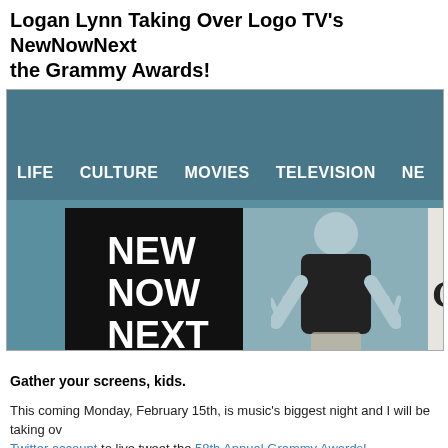Logan Lynn Taking Over Logo TV's NewNowNext for the Grammy Awards!
[Figure (screenshot): Logo TV NewNowNext website screenshot showing navigation bar with LIFE, CULTURE, MOVIES, TELEVISION, NE... and a featured image with a black box showing NEW NOW NEXT text, a person in a black t-shirt making peace signs, and a partial GR text on white background, all on a teal/blue background with crowd imagery.]
Gather your screens, kids.
This coming Monday, February 15th, is music's biggest night and I will be taking over Twitter account to live tweet the 58th Annual Grammy Awards!
Now go follow NewNowNext on Twitter HERE so you don't miss a single moment o...